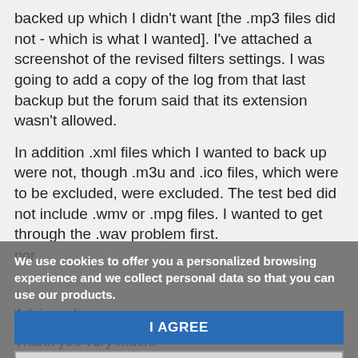backed up which I didn't want [the .mp3 files did not - which is what I wanted]. I've attached a screenshot of the revised filters settings. I was going to add a copy of the log from that last backup but the forum said that its extension wasn't allowed.

In addition .xml files which I wanted to back up were not, though .m3u and .ico files, which were to be excluded, were excluded. The test bed did not include .wmv or .mpg files. I wanted to get through the .wav problem first.
[Figure (screenshot): Cookie consent overlay on a forum/website page showing two paragraphs of body text partially visible behind a dark grey overlay. The overlay contains a cookie consent notice in bold white text reading 'We use cookies to offer you a personalized browsing experience and we collect personal data so that you can use our products.' with two buttons: a blue 'I AGREE' button and a light grey 'READ MORE' button with a dark border.]